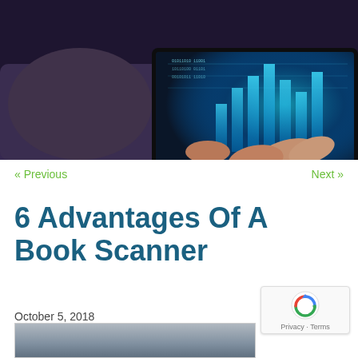[Figure (photo): Person holding a tablet device displaying glowing blue digital charts and data visualizations, dark purple background with hand visible in foreground]
« Previous
Next »
6 Advantages Of A Book Scanner
October 5, 2018
[Figure (photo): Partial thumbnail of an image related to book scanner at the bottom of the page]